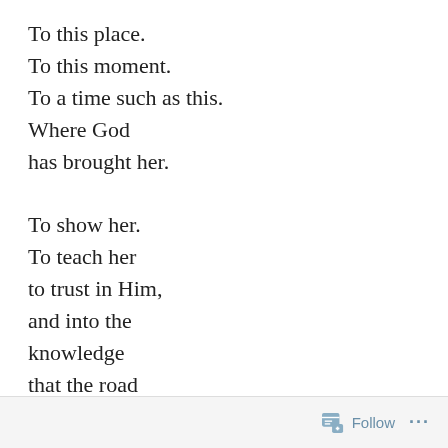To this place.
To this moment.
To a time such as this.
Where God
has brought her.

To show her.
To teach her
to trust in Him,
and into the
knowledge
that the road
she has traveled
has brought
discernment,
enlightenment,
Follow ···